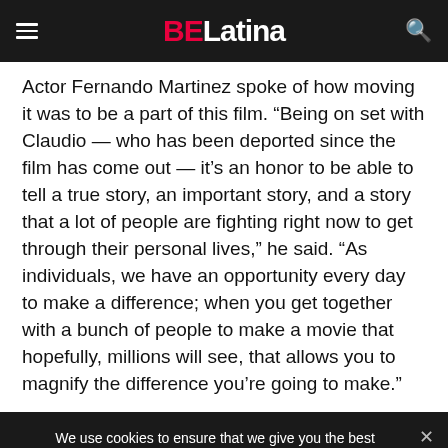BE Latina
Actor Fernando Martinez spoke of how moving it was to be a part of this film. “Being on set with Claudio — who has been deported since the film has come out — it’s an honor to be able to tell a true story, an important story, and a story that a lot of people are fighting right now to get through their personal lives,” he said. “As individuals, we have an opportunity every day to make a difference; when you get together with a bunch of people to make a movie that hopefully, millions will see, that allows you to magnify the difference you’re going to make.”
We use cookies to ensure that we give you the best experience on our website. If you continue to use this site we will assume that you are happy with it.
Ok
Privacy policy